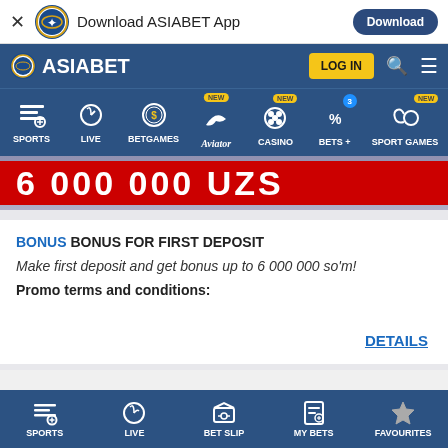Download ASIABET App | Download
ASIABET | LOG IN
SPORTS | LIVE | BETGAMES | Aviator | CASINO | BETS + | SPORT GAMES
[Figure (screenshot): Banner showing 6 000 000 UZS on red background]
BONUS BONUS FOR FIRST DEPOSIT
Make first deposit and get bonus up to 6 000 000 so'm!
Promo terms and conditions:
DETAILS
SPORTS | LIVE | BET SLIP | MY BETS | FAVOURITES